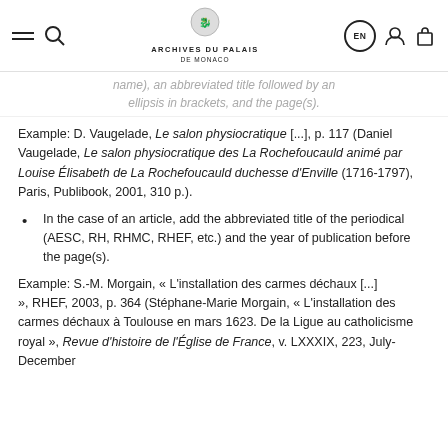Archives du Palais de Monaco — EN
name), an abbreviated title followed by an ellipsis in brackets, and the page(s).
Example: D. Vaugelade, Le salon physiocratique [...], p. 117 (Daniel Vaugelade, Le salon physiocratique des La Rochefoucauld animé par Louise Élisabeth de La Rochefoucauld duchesse d'Enville (1716-1797), Paris, Publibook, 2001, 310 p.).
In the case of an article, add the abbreviated title of the periodical (AESC, RH, RHMC, RHEF, etc.) and the year of publication before the page(s).
Example: S.-M. Morgain, « L'installation des carmes déchaux [...] », RHEF, 2003, p. 364 (Stéphane-Marie Morgain, « L'installation des carmes déchaux à Toulouse en mars 1623. De la Ligue au catholicisme royal », Revue d'histoire de l'Église de France, v. LXXXIX, 223, July-December